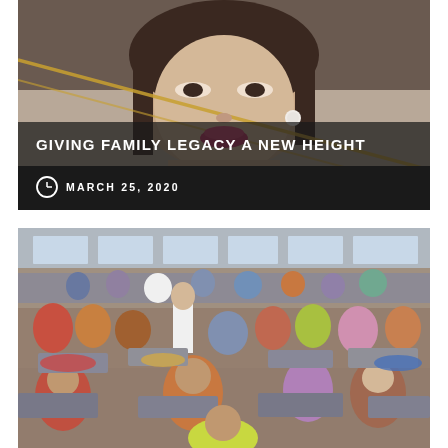[Figure (photo): Close-up portrait of a young Asian woman with pink lipstick, pearl earring, and glasses frames visible, with golden diagonal lines across the frame]
GIVING FAMILY LEGACY A NEW HEIGHT
MARCH 25, 2020
[Figure (photo): Overhead view of a garment factory floor with many workers, mostly women, seated at sewing machines working on colorful fabrics in a large industrial space with windows]